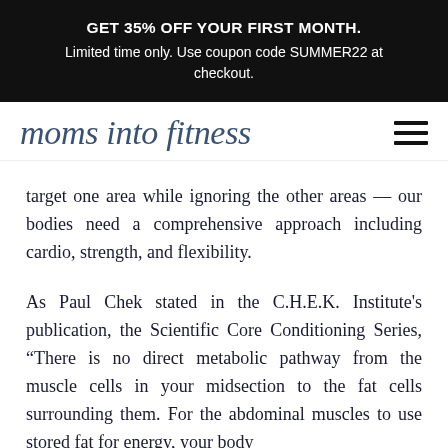GET 35% OFF YOUR FIRST MONTH. Limited time only. Use coupon code SUMMER22 at checkout.
moms into fitness
target one area while ignoring the other areas — our bodies need a comprehensive approach including cardio, strength, and flexibility.
As Paul Chek stated in the C.H.E.K. Institute's publication, the Scientific Core Conditioning Series, “There is no direct metabolic pathway from the muscle cells in your midsection to the fat cells surrounding them. For the abdominal muscles to use stored fat for energy, your body